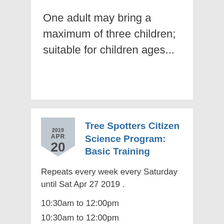One adult may bring a maximum of three children; suitable for children ages...
[Figure (other): Shield-shaped calendar badge with red bar at top, showing 2019 APR 20]
Tree Spotters Citizen Science Program: Basic Training
Repeats every week every Saturday until Sat Apr 27 2019 .
10:30am to 12:00pm
10:30am to 12:00pm
Location: Hunnewell Building Lecture Hall or Weld Hill Lecture